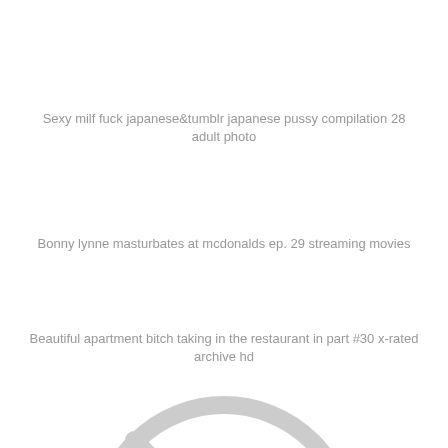Sexy milf fuck japanese&tumblr japanese pussy compilation 28 adult photo
Bonny lynne masturbates at mcdonalds ep. 29 streaming movies
Beautiful apartment bitch taking in the restaurant in part #30 x-rated archive hd
[Figure (illustration): A large light gray 'no image' placeholder icon showing a circle with a prohibited camera symbol inside, on white background]